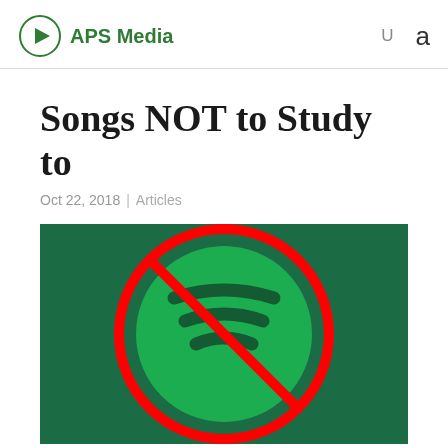APS Media  U  a
Songs NOT to Study to
Oct 22, 2018 | Articles
[Figure (illustration): Spotify logo (green circle with sound wave lines) overlaid with a red prohibition circle-and-slash symbol, on a dark green background. Represents 'no Spotify / not to listen to music while studying'.]